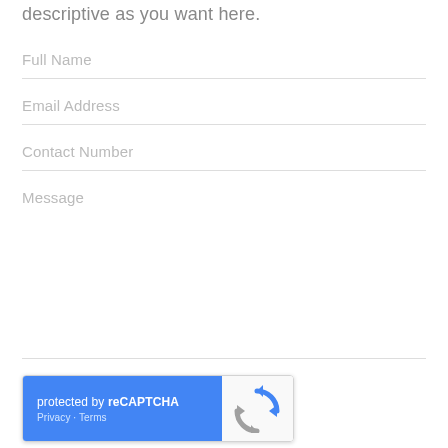descriptive as you want here.
Full Name
Email Address
Contact Number
Message
[Figure (other): reCAPTCHA widget — blue left panel with 'protected by reCAPTCHA' and 'Privacy · Terms', white right panel with the reCAPTCHA logo (blue and grey circular arrows).]